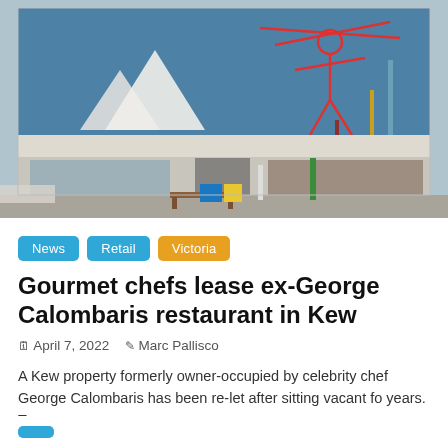[Figure (photo): Exterior photograph of a commercial building with blue upper facade featuring red line-art murals. The building has a white/cream lower section and retail storefronts at street level. A bench and utility poles are visible on the sidewalk.]
News
Retail
Victoria
Gourmet chefs lease ex-George Calombaris restaurant in Kew
April 7, 2022   Marc Pallisco
A Kew property formerly owner-occupied by celebrity chef George Calombaris has been re-let after sitting vacant fo years. Two